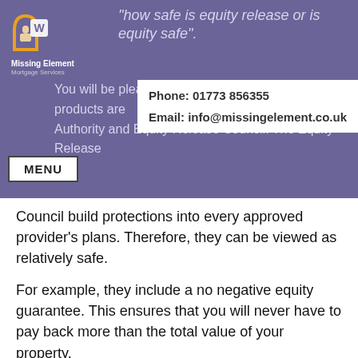[Figure (logo): Missing Element Mortgage Services logo with house/arch icon in orange/gold]
"how safe is equity release or is equity safe".
You will be pleased to hear that equity release products are regulated and governed by the Financial Conduct Authority and Equity Release Council. The Equity Release
Phone: 01773 856355
Email: info@missingelement.co.uk
MENU
Council build protections into every approved provider's plans. Therefore, they can be viewed as relatively safe.
For example, they include a no negative equity guarantee. This ensures that you will never have to pay back more than the total value of your property.